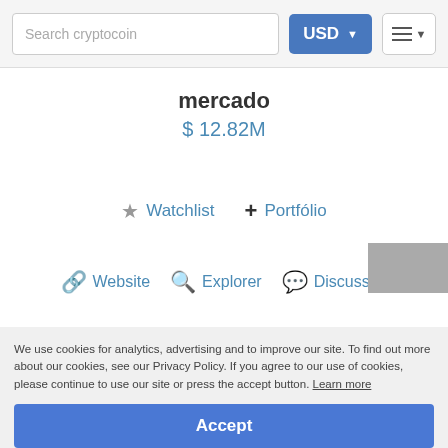Search cryptocoin | USD | menu
mercado
$ 12.82M
★ Watchlist
+ Portfólio
🔗 Website
🔍 Explorer
💬 Discussão
We use cookies for analytics, advertising and to improve our site. To find out more about our cookies, see our Privacy Policy. If you agree to our use of cookies, please continue to use our site or press the accept button. Learn more
Accept